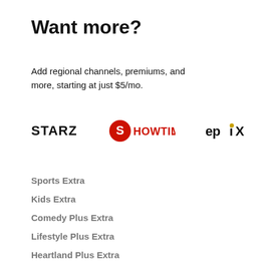Want more?
Add regional channels, premiums, and more, starting at just $5/mo.
[Figure (logo): Three streaming service logos: STARZ (bold black text), SHOWTIME (red circular badge with bold white text), EPIX (bold dark text with stylized dot on i)]
Sports Extra
Kids Extra
Comedy Plus Extra
Lifestyle Plus Extra
Heartland Plus Extra
Hollywood Extra